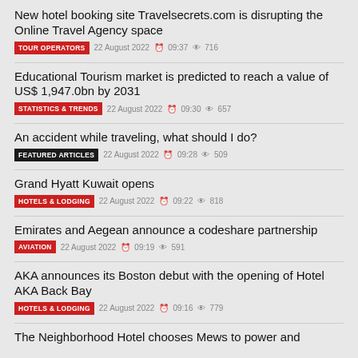New hotel booking site Travelsecrets.com is disrupting the Online Travel Agency space
TOUR OPERATORS  22 August 2022  09:37  716
Educational Tourism market is predicted to reach a value of US$ 1,947.0bn by 2031
STATISTICS & TRENDS  22 August 2022  09:30  657
An accident while traveling, what should I do?
FEATURED ARTICLES  22 August 2022  09:28  509
Grand Hyatt Kuwait opens
HOTELS & LODGING  22 August 2022  09:22  818
Emirates and Aegean announce a codeshare partnership
AVIATION  22 August 2022  09:19  591
AKA announces its Boston debut with the opening of Hotel AKA Back Bay
HOTELS & LODGING  22 August 2022  09:16  779
The Neighborhood Hotel chooses Mews to power and